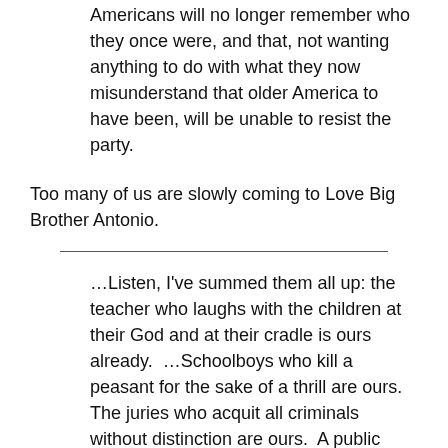Americans will no longer remember who they once were, and that, not wanting anything to do with what they now misunderstand that older America to have been, will be unable to resist the party.
Too many of us are slowly coming to Love Big Brother Antonio.
…Listen, I've summed them all up: the teacher who laughs with the children at their God and at their cradle is ours already.  …Schoolboys who kill a peasant for the sake of a thrill are ours.  The juries who acquit all criminals without distinction are ours.  A public prosecutor, who trembles in court because he is not sufficiently progressive, is ours, ours.  Administrators, authors — oh, there are lots and lots